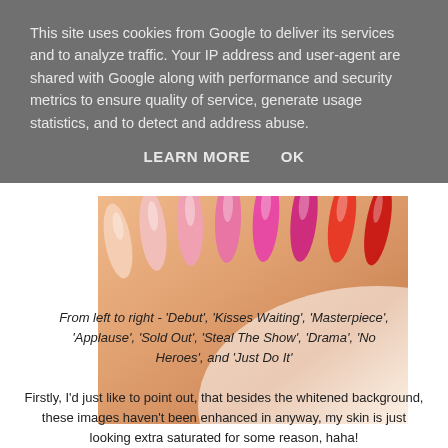This site uses cookies from Google to deliver its services and to analyze traffic. Your IP address and user-agent are shared with Google along with performance and security metrics to ensure quality of service, generate usage statistics, and to detect and address abuse. LEARN MORE   OK
[Figure (photo): Close-up photo of nail polish swatches applied on skin, showing colors from left to right: bare/nude, light pink, pink, hot pink, magenta/pink-red, orange-red, red]
From left to right - 'Debut', 'Kisses Waiting', 'Masterpiece', 'Applause', 'Sold Out', 'Steal The Show', 'Drama', 'No Heroes', and 'Just Do It'
Firstly, I'd just like to point out, that besides the whitened background, these images haven't been enhanced in anyway, my skin is just looking extra saturated for some reason, haha!